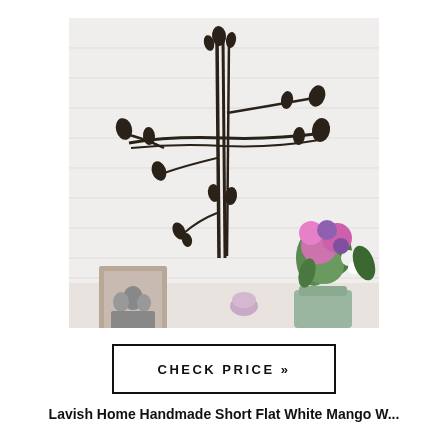[Figure (photo): A black metal wall art piece shaped like a cross with branching stems and leaf buds, mounted on a white shiplap wall. Below it on a surface are a framed family photo on the left and a vase of colorful flowers (pink roses, purple blooms, white flowers) on the right.]
CHECK PRICE »
Lavish Home Handmade Short Flat White Mango W...